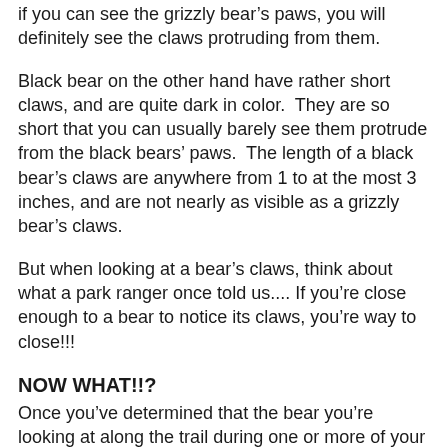if you can see the grizzly bear's paws, you will definitely see the claws protruding from them.
Black bear on the other hand have rather short claws, and are quite dark in color.  They are so short that you can usually barely see them protrude from the black bears' paws.  The length of a black bear's claws are anywhere from 1 to at the most 3 inches, and are not nearly as visible as a grizzly bear's claws.
But when looking at a bear's claws, think about what a park ranger once told us.... If you're close enough to a bear to notice its claws, you're way to close!!!
NOW WHAT!!?
Once you've determined that the bear you're looking at along the trail during one or more of your Glacier Park Hikes, Yellowstone Park Hikes, or Grand Teton Hikes, then what? Well, that information will be covered in detail in a future